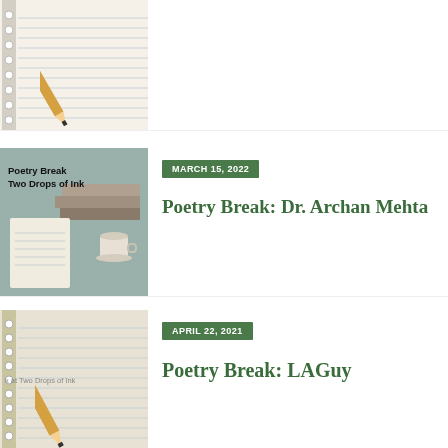[Figure (photo): Cropped top portion of a notebook with lined paper and a pencil resting on it]
[Figure (photo): Notebook with books and coffee cup; overlay text reads Poetry Break / Two Drops of Ink]
MARCH 15, 2022
Poetry Break: Dr. Archan Mehta
[Figure (photo): Notebook with pencil; overlay text reads k at Two Drops of Ink]
APRIL 22, 2021
Poetry Break: LAGuy
[Figure (photo): Notebook with pencil; overlay text reads k at Two Drops of Ink]
APRIL 17, 2021
Poetry Break: Solomon Maikas